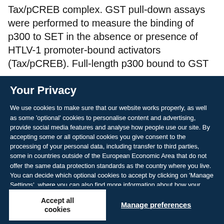Tax/pCREB complex. GST pull-down assays were performed to measure the binding of p300 to SET in the absence or presence of HTLV-1 promoter-bound activators (Tax/pCREB). Full-length p300 bound to GST
Your Privacy
We use cookies to make sure that our website works properly, as well as some 'optional' cookies to personalise content and advertising, provide social media features and analyse how people use our site. By accepting some or all optional cookies you give consent to the processing of your personal data, including transfer to third parties, some in countries outside of the European Economic Area that do not offer the same data protection standards as the country where you live. You can decide which optional cookies to accept by clicking on 'Manage Settings', where you can also find more information about how your personal data is processed. Further information can be found in our privacy policy.
Accept all cookies
Manage preferences